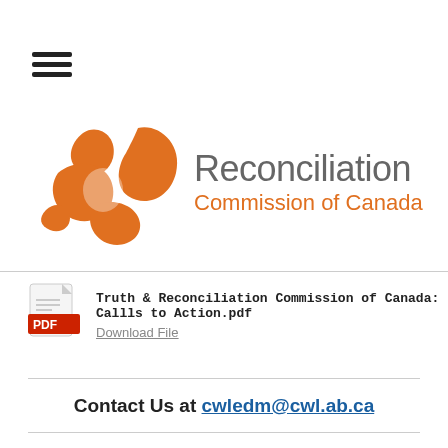[Figure (logo): Hamburger menu icon — three horizontal black bars]
[Figure (logo): Truth and Reconciliation Commission of Canada logo — orange feather/leaf swirl graphic on left, 'Reconciliation' in grey and 'Commission of Canada' in orange on right]
Truth & Reconciliation Commission of Canada: Callls to Action.pdf
Download File
Contact Us at cwledm@cwl.ab.ca